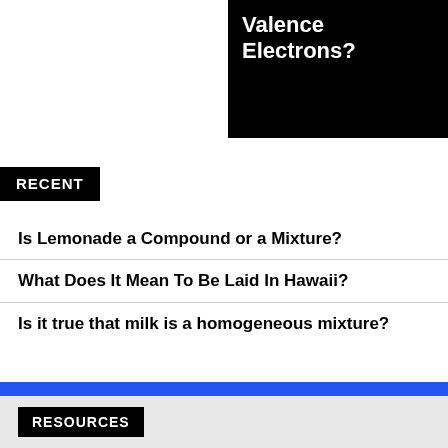[Figure (other): Black banner image with white bold text reading 'Valence Electrons?']
RECENT
Is Lemonade a Compound or a Mixture?
What Does It Mean To Be Laid In Hawaii?
Is it true that milk is a homogeneous mixture?
RESOURCES